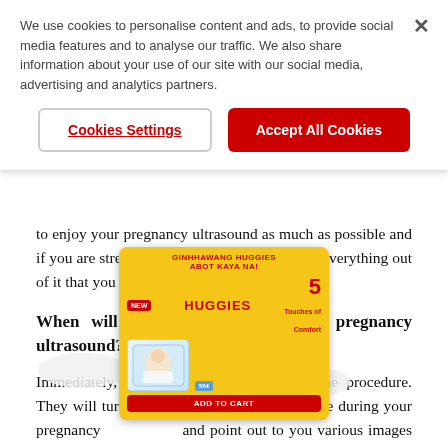We use cookies to personalise content and ads, to provide social media features and to analyse our traffic. We also share information about your use of our site with our social media, advertising and analytics partners.
Cookies Settings
Accept All Cookies
to enjoy your pregnancy ultrasound as much as possible and if you are stressed and anxious, you won't get everything out of it that you otherwise could.
When will I get the results of my pregnancy ultrasound?
Immediately, as the sonographer is doing the procedure. They will turn the screen around at some stage during your pregnancy and point out to you various images and. You may also go to a clinic which provides a separate screen to the one
[Figure (other): Huggies advertisement overlay showing product packaging with 'Ginhhawang Huggies Abot Kaya Na!' text, '5 Touches of Comfort' badge, baby image, and ADD TO CART button]